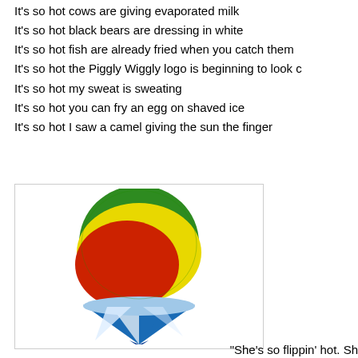It's so hot cows are giving evaporated milk
It's so hot black bears are dressing in white
It's so hot fish are already fried when you catch them
It's so hot the Piggly Wiggly logo is beginning to look c
It's so hot my sweat is sweating
It's so hot you can fry an egg on shaved ice
It's so hot I saw a camel giving the sun the finger
[Figure (illustration): A colorful shaved ice snow cone with red, yellow, and green flavored ice on top of a blue and white striped paper cone holder]
"She's so flippin' hot. Sh